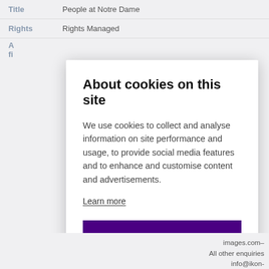| Field | Value |
| --- | --- |
| Title | People at Notre Dame |
| Rights | Rights Managed |
About cookies on this site
We use cookies to collect and analyse information on site performance and usage, to provide social media features and to enhance and customise content and advertisements.
Learn more
ALLOW ALL COOKIES
COOKIE SETTINGS
images.com–
All other enquiries
info@ikon-